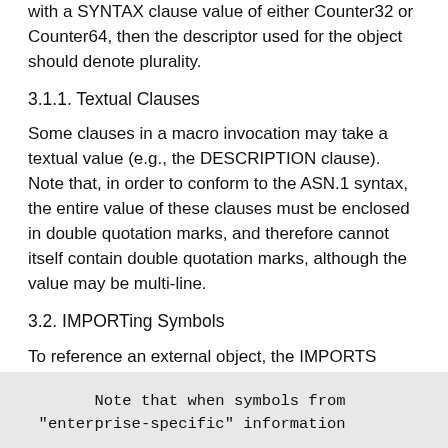Finally, by convention, if the descriptor refers to an object with a SYNTAX clause value of either Counter32 or Counter64, then the descriptor used for the object should denote plurality.
3.1.1. Textual Clauses
Some clauses in a macro invocation may take a textual value (e.g., the DESCRIPTION clause). Note that, in order to conform to the ASN.1 syntax, the entire value of these clauses must be enclosed in double quotation marks, and therefore cannot itself contain double quotation marks, although the value may be multi-line.
3.2. IMPORTing Symbols
To reference an external object, the IMPORTS statement must be used to identify both the descriptor and the module defining the descriptor.
Note that when symbols from
"enterprise-specific" information